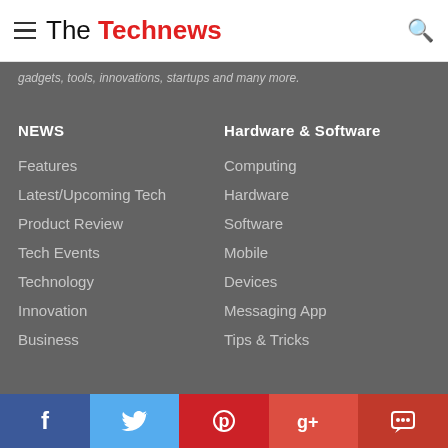The Technews
gadgets, tools, innovations, startups and many more.
NEWS
Hardware & Software
Features
Computing
Latest/Upcoming Tech
Hardware
Product Review
Software
Tech Events
Mobile
Technology
Devices
Innovation
Messaging App
Business
Tips & Tricks
[Figure (infographic): Social media share bar with Facebook (blue), Twitter (light blue), Pinterest (red), Google+ (red-orange), and a comment/chat icon (dark red) buttons]